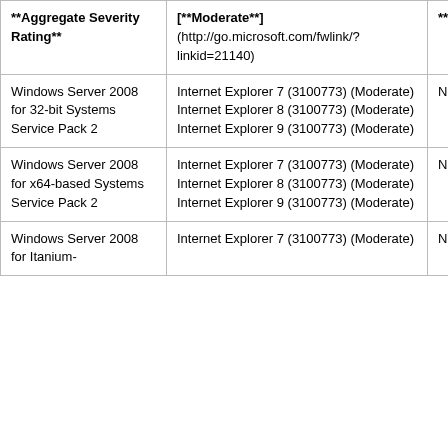| **Aggregate Severity Rating** | [**Moderate**](http://go.microsoft.com/fwlink/?linkid=21140) | **Non... |
| --- | --- | --- |
| Windows Server 2008 for 32-bit Systems Service Pack 2 | Internet Explorer 7 (3100773) (Moderate)
Internet Explorer 8 (3100773) (Moderate)
Internet Explorer 9 (3100773) (Moderate) | Not ap |
| Windows Server 2008 for x64-based Systems Service Pack 2 | Internet Explorer 7 (3100773) (Moderate)
Internet Explorer 8 (3100773) (Moderate)
Internet Explorer 9 (3100773) (Moderate) | Not ap |
| Windows Server 2008 for Itanium- | Internet Explorer 7 (3100773) (Moderate) | Not ap |